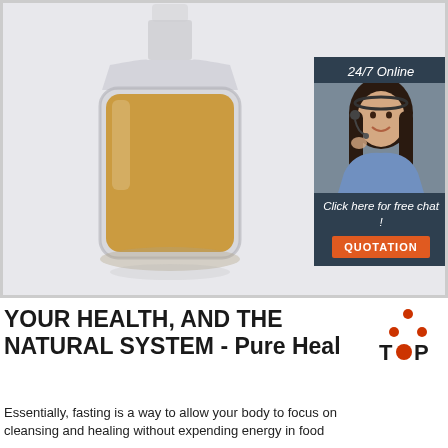[Figure (photo): A glass bottle filled with amber/golden liquid (oil or tincture) on a light gray background, with a chat widget overlay in the top right showing '24/7 Online' and a customer service representative, plus a 'Click here for free chat! QUOTATION' button]
YOUR HEALTH, AND THE NATURAL SYSTEM - Pure Health [TOP logo]
Essentially, fasting is a way to allow your body to focus on cleansing and healing without expending energy in food